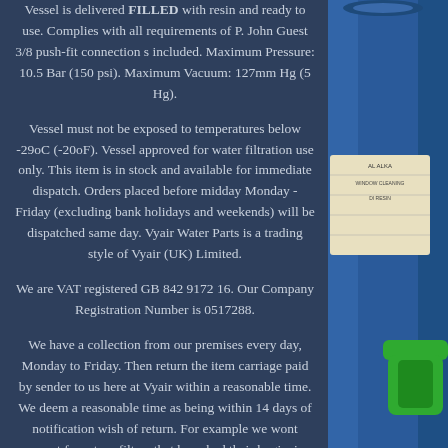Vessel is delivered FILLED with resin and ready to use. Complies with all requirements of P. John Guest 3/8 push-fit connection s included. Maximum Pressure: 10.5 Bar (150 psi). Maximum Vacuum: 127mm Hg (5 Hg).
Vessel must not be exposed to temperatures below -29oC (-20oF). Vessel approved for water filtration use only. This item is in stock and available for immediate dispatch. Orders placed before midday Monday - Friday (excluding bank holidays and weekends) will be dispatched same day. Vyair Water Parts is a trading style of Vyair (UK) Limited.
We are VAT registered GB 842 9172 16. Our Company Registration Number is 0517288.
We have a collection from our premises every day, Monday to Friday. Then return the item carriage paid by sender to us here at Vyair within a reasonable time. We deem a reasonable time as being within 14 days of notification wish of return. For example we wont accept for return filters that have had their hygienic protective wrappers removed, or have been used and cant be resold. Window Cleaning 11 Litre DI Resin
[Figure (photo): Blue plastic water filtration vessel/canister with green handle, partially visible on the right side of the image with a product label]